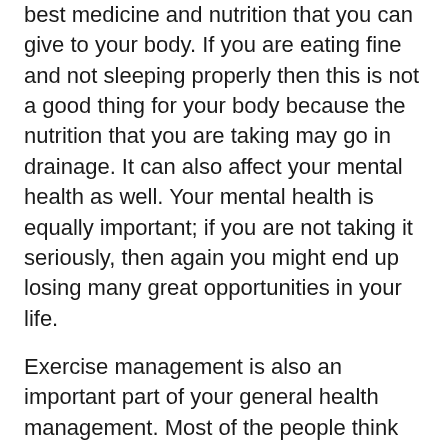best medicine and nutrition that you can give to your body. If you are eating fine and not sleeping properly then this is not a good thing for your body because the nutrition that you are taking may go in drainage. It can also affect your mental health as well. Your mental health is equally important; if you are not taking it seriously, then again you might end up losing many great opportunities in your life.
Exercise management is also an important part of your general health management. Most of the people think that joining a gym is the end of the road. Some people prefer to do a certain set of exercises and feel happy about them. One should never forget a simple fact that your entire body needs some kind of exercise and this is why you should keep on changing the set of the exercises. It is wise to follow a timetable in life however; it is wiser to break the same timetable for the time being. Body sometimes hates this monotony of the events and makes it dull.
This same principle is applicable on your food habits as well.